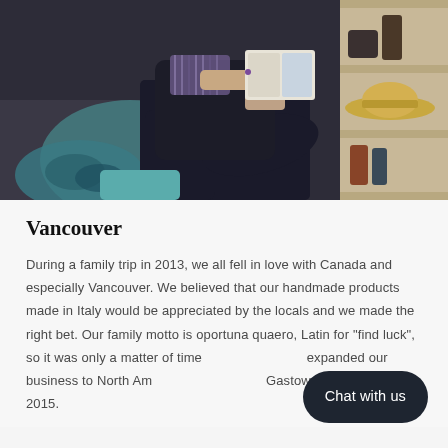[Figure (photo): A person dressed in dark clothing sitting in a chair reading a magazine or book. They appear to be in a stylish room with shelves, hats, and decorative items visible in the background. A patterned scarf is visible.]
Vancouver
During a family trip in 2013, we all fell in love with Canada and especially Vancouver. We believed that our handmade products made in Italy would be appreciated by the locals and we made the right bet. Our family motto is oportuna quaero, Latin for "find luck", so it was only a matter of time before we expanded our business to North America. Our Gastown office opened in 2015.